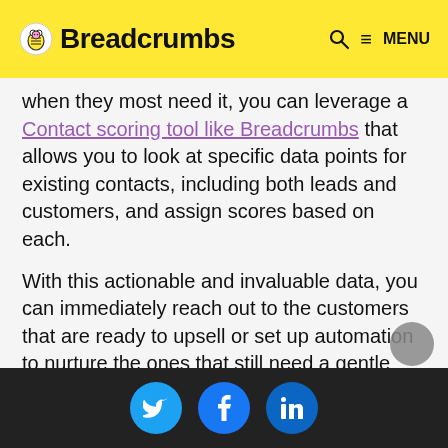Breadcrumbs
when they most need it, you can leverage a Contact scoring tool like Breadcrumbs that allows you to look at specific data points for existing contacts, including both leads and customers, and assign scores based on each.
With this actionable and invaluable data, you can immediately reach out to the customers that are ready to upsell or set up automation to nurture the ones that still need a gentle nudge to move to the next step of the customer journey.
Social share buttons: Twitter, Facebook, LinkedIn